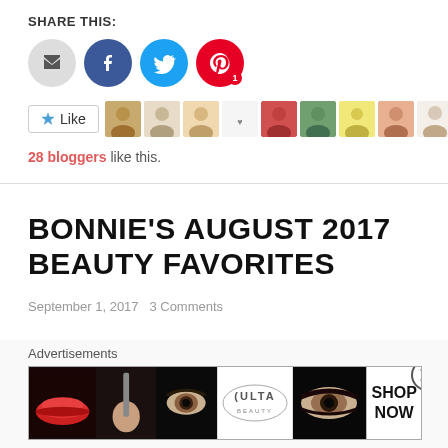SHARE THIS:
[Figure (infographic): Social share buttons: email (grey circle), Facebook (blue circle), Twitter (cyan circle), Pinterest (red circle with number 1)]
[Figure (infographic): Like button with star icon, followed by a strip of 10 blogger avatar thumbnails]
28 bloggers like this.
BONNIE'S AUGUST 2017 BEAUTY FAVORITES
September 1, 2017   3 Comments
Advertisements
[Figure (illustration): Ulta Beauty advertisement banner showing makeup imagery (lips, brush, eye, logo, smokey eye) with SHOP NOW call to action]